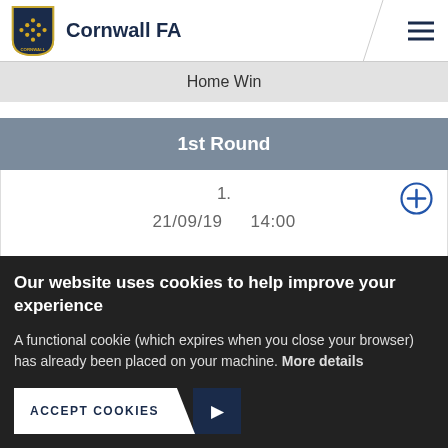Cornwall FA
Home Win
1st Round
1.   21/09/19   14:00
Our website uses cookies to help improve your experience
A functional cookie (which expires when you close your browser) has already been placed on your machine. More details
ACCEPT COOKIES